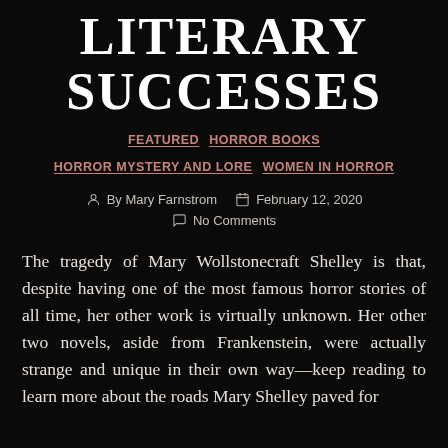LITERARY SUCCESSES
FEATURED   HORROR BOOKS   HORROR MYSTERY AND LORE   WOMEN IN HORROR
By Mary Farnstrom   February 12, 2020
No Comments
The tragedy of Mary Wollstonecraft Shelley is that, despite having one of the most famous horror stories of all time, her other work is virtually unknown. Her other two novels, aside from Frankenstein, were actually strange and unique in their own way—keep reading to learn more about the roads Mary Shelley paved for